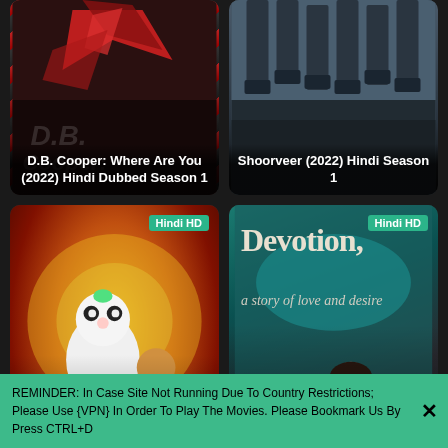[Figure (illustration): D.B. Cooper: Where Are You (2022) Hindi Dubbed Season 1 - movie poster top-left]
D.B. Cooper: Where Are You (2022) Hindi Dubbed Season 1
[Figure (illustration): Shoorveer (2022) Hindi Season 1 - movie poster top-right]
Shoorveer (2022) Hindi Season 1
[Figure (illustration): Kung Fu Panda: The Dragon Knight (2022) Hindi Dubbed Season 1 - movie poster bottom-left with Hindi HD badge]
Kung Fu Panda: The Dragon Knight (2022) Hindi Dubbed Season 1
[Figure (illustration): Devotion a Story of Love and Desire (2022) Hindi Dubbed Season 1 - movie poster bottom-right with Hindi HD badge]
Devotion a Story of Love and Desire (2022) Hindi Dubbed Season 1
REMINDER: In Case Site Not Running Due To Country Restrictions; Please Use {VPN} In Order To Play The Movies. Please Bookmark Us By Press CTRL+D